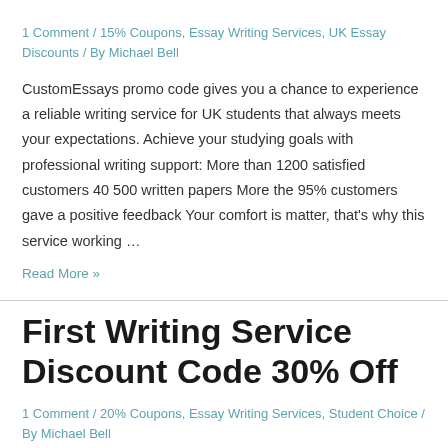1 Comment / 15% Coupons, Essay Writing Services, UK Essay Discounts / By Michael Bell
CustomEssays promo code gives you a chance to experience a reliable writing service for UK students that always meets your expectations. Achieve your studying goals with professional writing support: More than 1200 satisfied customers 40 500 written papers More the 95% customers gave a positive feedback Your comfort is matter, that's why this service working …
Read More »
First Writing Service Discount Code 30% Off
1 Comment / 20% Coupons, Essay Writing Services, Student Choice / By Michael Bell
Get professional writing help with the FirstWritingService coupon